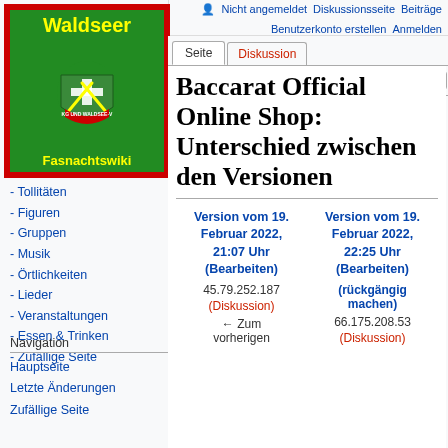Nicht angemeldet  Diskussionsseite  Beiträge  Benutzerkonto erstellen  Anmelden
[Figure (logo): Waldseer Fasnachtswiki logo: red-bordered green background with crossed tools and shield emblem, yellow text reading 'Waldseer' and 'Fasnachtswiki']
- Tollitäten
- Figuren
- Gruppen
- Musik
- Örtlichkeiten
- Lieder
- Veranstaltungen
- Essen & Trinken
- Zufällige Seite
Navigation
Hauptseite
Letzte Änderungen
Zufällige Seite
Baccarat Official Online Shop: Unterschied zwischen den Versionen
| Version vom 19. Februar 2022, 21:07 Uhr (Bearbeiten) | Version vom 19. Februar 2022, 22:25 Uhr (Bearbeiten) |
| --- | --- |
| 45.79.252.187 | (rückgängig machen) |
| (Diskussion) | 66.175.208.53 |
| ← Zum vorherigen | (Diskussion) |